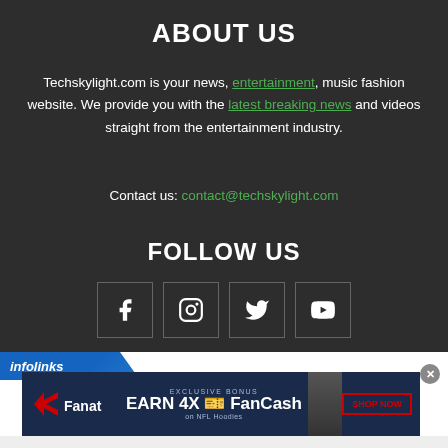ABOUT US
Techskylight.com is your news, entertainment, music fashion website. We provide you with the latest breaking news and videos straight from the entertainment industry.
Contact us: contact@techskylight.com
FOLLOW US
[Figure (illustration): Social media icons: Facebook, Instagram, Twitter, YouTube in square bordered boxes]
[Figure (illustration): Infolinks banner and Fanatics advertisement: EXCLUSIVE BONUS EARN 4X FanCash on NFL Hoodies with SHOP NOW button]